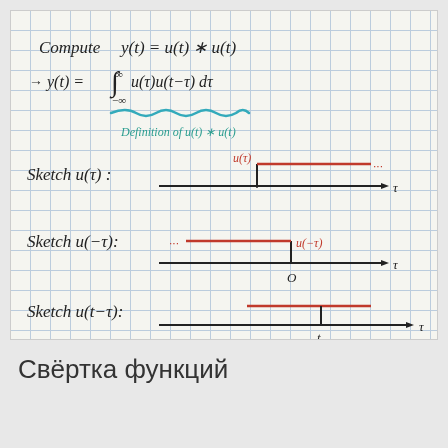[Figure (math-figure): Handwritten mathematics on graph paper showing: Compute y(t) = u(t) * u(t), then y(t) = integral from -inf to inf of u(tau)u(t-tau)dtau (labeled Definition of u(t)*u(t)), followed by sketches: Sketch u(tau) showing unit step function, Sketch u(-tau) showing reflected step, Sketch u(t-tau) showing shifted step.]
Свёртка функций